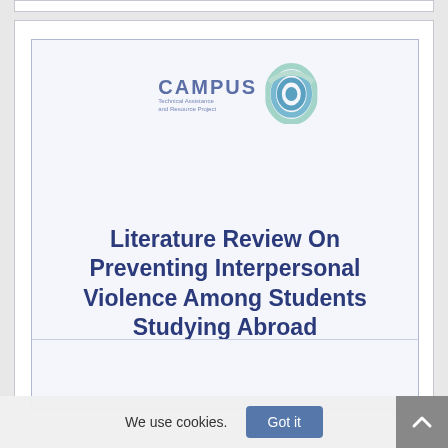[Figure (logo): CAMPUS Technical Assistance and Resource Project logo with concentric arc circles in teal/blue/green gradient]
Literature Review On Preventing Interpersonal Violence Among Students Studying Abroad
We use cookies.